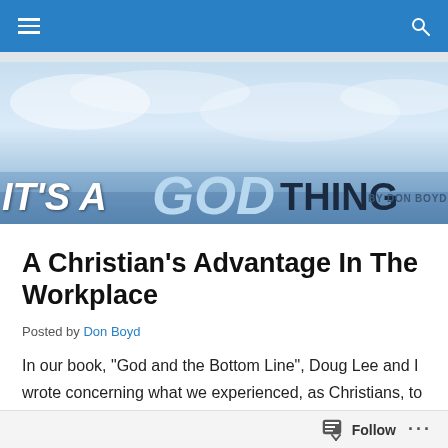[Figure (screenshot): Website navigation bar with blue background, hamburger menu icon on left and search icon on right]
[Figure (illustration): Blog banner image with ocean/sky background reading IT'S A GOD THING BY DON BOYD]
A Christian's Advantage In The Workplace
Posted by Don Boyd
In our book, “God and the Bottom Line”, Doug Lee and I wrote concerning what we experienced, as Christians, to help us be better employees, leaders and managers at